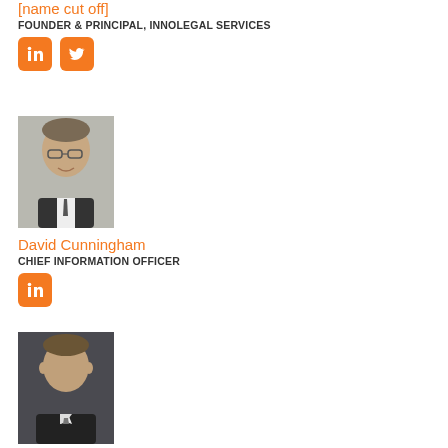[name cut off]
FOUNDER & PRINCIPAL, INNOLEGAL SERVICES
[Figure (logo): LinkedIn and Twitter social media icons in orange rounded squares]
[Figure (photo): Headshot of David Cunningham, a man with glasses and grey-brown hair wearing a suit]
David Cunningham
CHIEF INFORMATION OFFICER
[Figure (logo): LinkedIn social media icon in orange rounded square]
[Figure (photo): Headshot of Dan Currell, a man in a dark suit with a tie]
Dan Currell
MANAGING DIRECTOR, ADVANCELAW